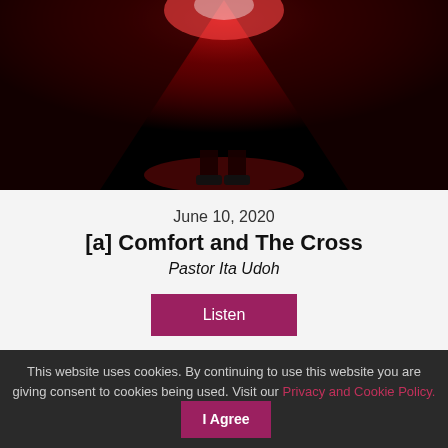[Figure (photo): Dark photo with red lighting showing a person's lower body/feet area in a dark corridor or stage, dramatic red glow]
June 10, 2020
[a] Comfort and The Cross
Pastor Ita Udoh
Listen
[Figure (photo): Dark photo with blue and red/purple lighting showing a stage or room with curtains and dramatic colored lighting]
This website uses cookies. By continuing to use this website you are giving consent to cookies being used. Visit our Privacy and Cookie Policy.
I Agree